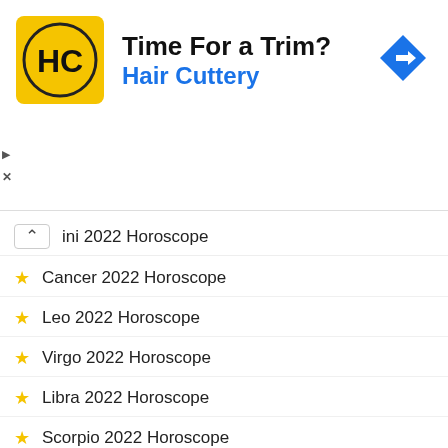[Figure (screenshot): Hair Cuttery advertisement banner with HC logo, 'Time For a Trim?' headline, 'Hair Cuttery' subtext in blue, and a navigation arrow icon]
ini 2022 Horoscope (Gemini, partially hidden with collapse button)
Cancer 2022 Horoscope
Leo 2022 Horoscope
Virgo 2022 Horoscope
Libra 2022 Horoscope
Scorpio 2022 Horoscope
-ADVERTISEMENT-
Capricorn 2022 Horoscope
[Figure (screenshot): Video player overlay showing 'How To Open 7 Chakras - Meditation and Healing - SunSigns.Org' with a moon/circle graphic on black background]
Rat 2022 Horoscope
Ox 20...
Tiger 2...
[Figure (screenshot): Hair Cuttery ad: Ashburn OPEN 8AM-8PM, 44110 Ashburn Shopping Plaza 190]